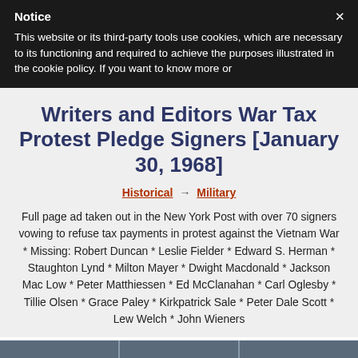Notice
This website or its third-party tools use cookies, which are necessary to its functioning and required to achieve the purposes illustrated in the cookie policy. If you want to know more or
Writers and Editors War Tax Protest Pledge Signers [January 30, 1968]
Historical → Military
Full page ad taken out in the New York Post with over 70 signers vowing to refuse tax payments in protest against the Vietnam War * Missing: Robert Duncan * Leslie Fielder * Edward S. Herman * Staughton Lynd * Milton Mayer * Dwight Macdonald * Jackson Mac Low * Peter Matthiessen * Ed McClanahan * Carl Oglesby * Tillie Olsen * Grace Paley * Kirkpatrick Sale * Peter Dale Scott * Lew Welch * John Wieners